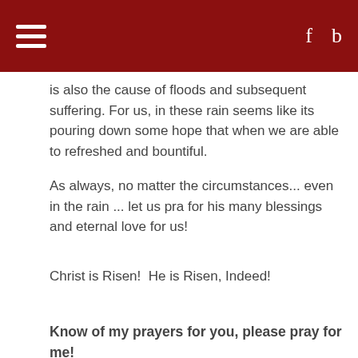≡  f  b
is also the cause of floods and subsequent suffering. For us, in these rain seems like its pouring down some hope that when we are able to refreshed and bountiful.
As always, no matter the circumstances... even in the rain ... let us pra for his many blessings and eternal love for us!
Christ is Risen!  He is Risen, Indeed!
Know of my prayers for you, please pray for me!
Father Wilke